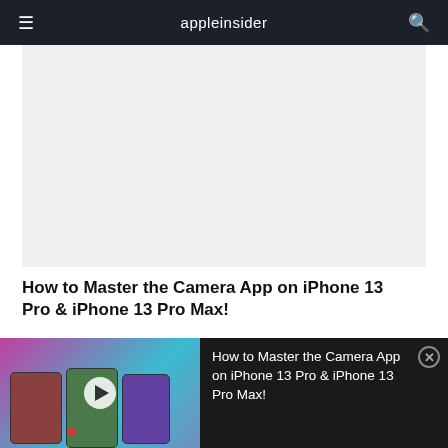appleinsider
[Figure (other): Light gray placeholder image area]
How to Master the Camera App on iPhone 13 Pro & iPhone 13 Pro Max!
[Figure (screenshot): Video thumbnail showing three iPhones with camera app and play button overlay, with text: How to Master the Camera App on iPhone 13 Pro & iPhone 13 Pro Max!]